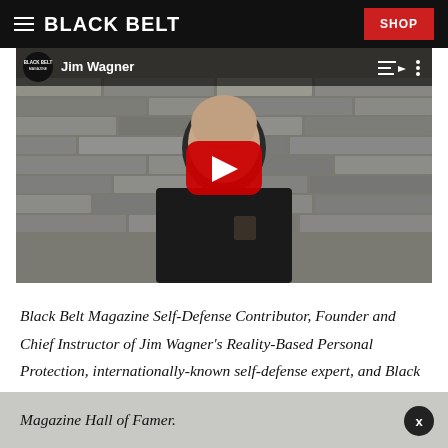BLACK BELT | SHOP
[Figure (screenshot): YouTube video thumbnail showing Jim Wagner, a bald man in a dark polo shirt with a logo patch, standing in front of a stone wall background. The Black Belt Magazine logo and channel name 'Jim Wagner' appear in the top bar. A large red YouTube play button is centered over the image.]
Black Belt Magazine Self-Defense Contributor, Founder and Chief Instructor of Jim Wagner's Reality-Based Personal Protection, internationally-known self-defense expert, and Black Belt Magazine Hall of Famer.